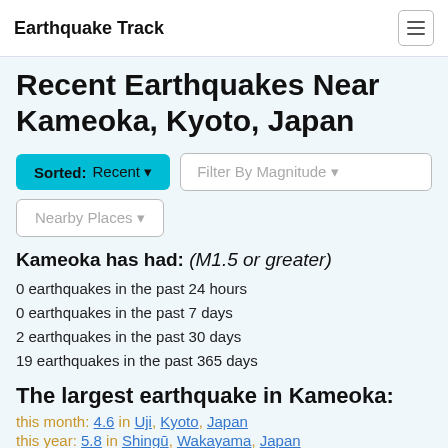Earthquake Track
Recent Earthquakes Near Kameoka, Kyoto, Japan
Kameoka has had: (M1.5 or greater)
0 earthquakes in the past 24 hours
0 earthquakes in the past 7 days
2 earthquakes in the past 30 days
19 earthquakes in the past 365 days
The largest earthquake in Kameoka:
this month: 4.6 in Uji, Kyoto, Japan
this year: 5.8 in Shingū, Wakayama, Japan